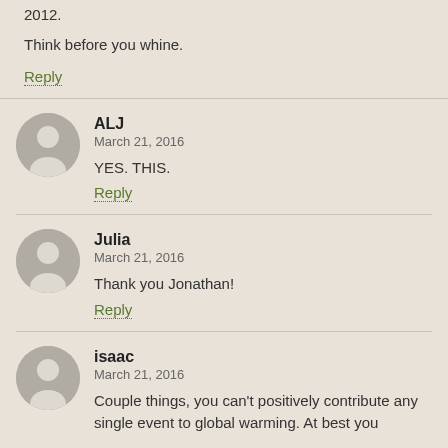2012.
Think before you whine.
Reply
ALJ
March 21, 2016
YES. THIS.
Reply
Julia
March 21, 2016
Thank you Jonathan!
Reply
isaac
March 21, 2016
Couple things, you can't positively contribute any single event to global warming. At best you